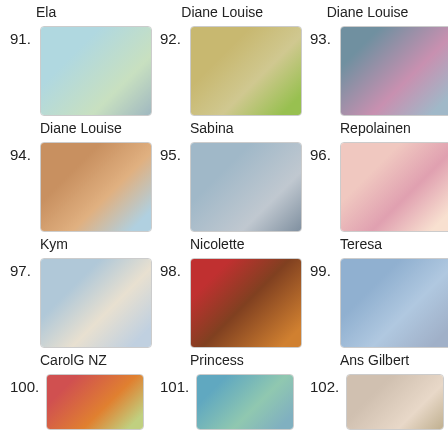Ela    Diane Louise    Diane Louise
91. Diane Louise
92. Sabina
93. Repolainen
94. Kym
95. Nicolette
96. Teresa
97. CarolG NZ
98. Princess
99. Ans Gilbert
100.
101.
102.